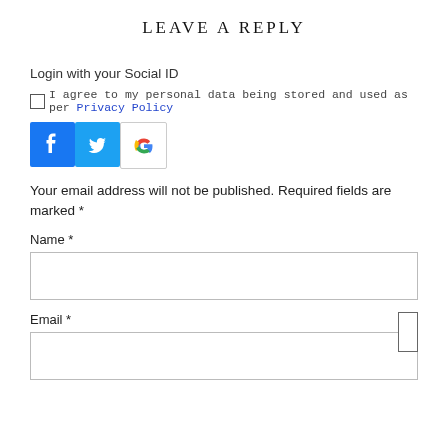LEAVE A REPLY
Login with your Social ID
I agree to my personal data being stored and used as per Privacy Policy
[Figure (infographic): Three social login buttons: Facebook (blue with f logo), Twitter (blue with bird logo), Google (white with G logo)]
Your email address will not be published. Required fields are marked *
Name *
Email *